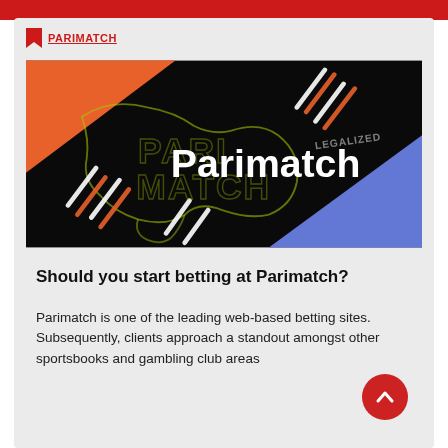PARIMATCH
[Figure (illustration): Parimatch promotional banner with dark background, orange and blue diagonal color blocks, neon outline map graphic, white and orange decorative diagonal lines/stripes, and bold white text 'Parimatch' in the center. Small text 'LEGALIZED' appears above in stylized lettering.]
Should you start betting at Parimatch?
Parimatch is one of the leading web-based betting sites. Subsequently, clients approach a standout amongst other sportsbooks and gambling club areas